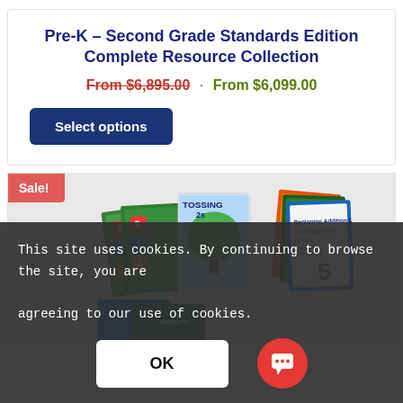Pre-K – Second Grade Standards Edition Complete Resource Collection
From $6,895.00 · From $6,099.00
Select options
[Figure (photo): Educational math resource books and card sets fanned out on a surface, showing colorful covers with numbers and activities. A 'Sale!' badge is shown in the top-left corner.]
This site uses cookies. By continuing to browse the site, you are agreeing to our use of cookies.
OK